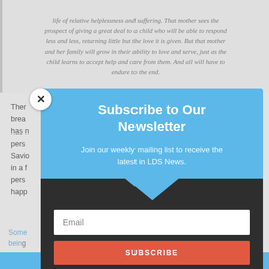life of relative helplessness and suffering. That mother sees the prospect of giving a great deal to a child who will be able to respond less and less, returning little but the love it is given. But that mother and her family will grow in their ability to love and serve, just as the child learns to accept help and care from them. And all will have to endure to the end.
There ... by breaking ... has not ... person ..., is a Savior ... hol in a f... st person ... be a happ...
[Figure (screenshot): Newsletter subscription modal popup with blue header area reading 'Subscribe to Our Newsletter', subtitle 'Join our weekly mailing list to receive the latest in LDS News.', dark bottom section with email input field and red SUBSCRIBE button. Close button (X) in top-left corner.]
Some... n being... ced
Share This ∨  ✕